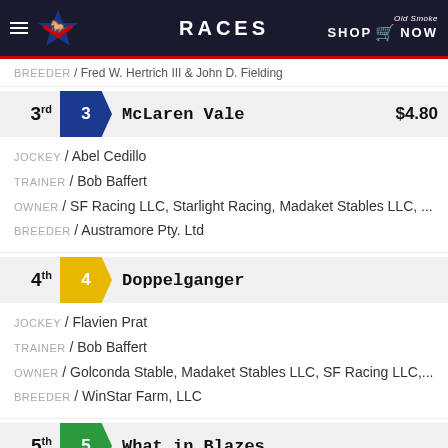RACES
BREEDER / Fred W. Hertrich III & John D. Fielding
3rd 3 McLaren Vale $4.80 JOCKEY / Abel Cedillo TRAINER / Bob Baffert OWNER / SF Racing LLC, Starlight Racing, Madaket Stables LLC, ... BREEDER / Austramore Pty. Ltd
4th 4 Doppelganger JOCKEY / Flavien Prat TRAINER / Bob Baffert OWNER / Golconda Stable, Madaket Stables LLC, SF Racing LLC,... BREEDER / WinStar Farm, LLC
5th 5 What in Blazes JOCKEY / Tyler Razo